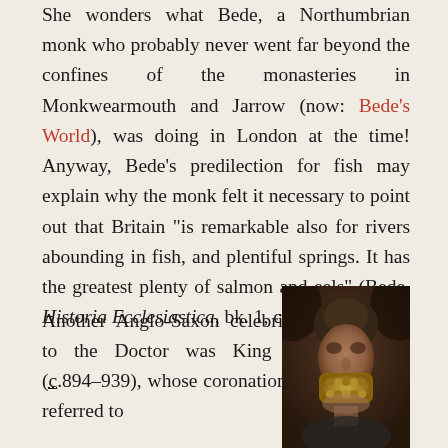She wonders what Bede, a Northumbrian monk who probably never went far beyond the confines of the monasteries in Monkwearmouth and Jarrow (now: Bede's World), was doing in London at the time! Anyway, Bede's predilection for fish may explain why the monk felt it necessary to point out that Britain "is remarkable also for rivers abounding in fish, and plentiful springs. It has the greatest plenty of salmon and eels" (Bede, Historia Ecclesiastica, bk. 1, ch. 1).
Another Anglo-Saxon celebrity known to the Doctor was King Athelstan (c.894–939), whose coronation in 924 is referred to
[Figure (photo): A person wearing what appears to be a golden mask or ornate crown around their mouth/jaw, photographed in a dim setting]